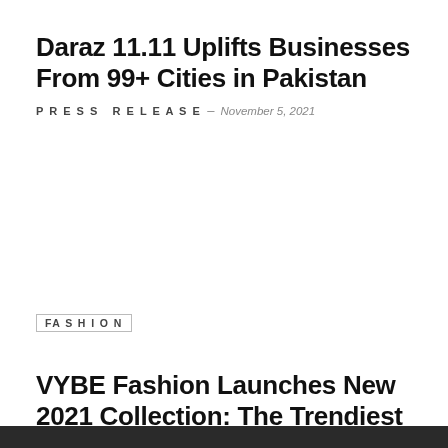Daraz 11.11 Uplifts Businesses From 99+ Cities in Pakistan
Press Release - November 5, 2021
Fashion
VYBE Fashion Launches New 2021 Collection: The Trendiest Bags In Town
Press Release - November 5, 2021